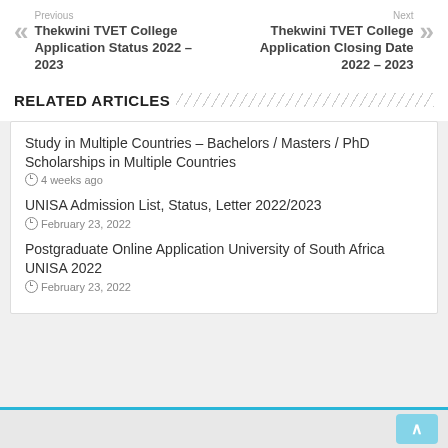Previous
Thekwini TVET College Application Status 2022 – 2023
Next
Thekwini TVET College Application Closing Date 2022 – 2023
RELATED ARTICLES
Study in Multiple Countries – Bachelors / Masters / PhD Scholarships in Multiple Countries
4 weeks ago
UNISA Admission List, Status, Letter 2022/2023
February 23, 2022
Postgraduate Online Application University of South Africa UNISA 2022
February 23, 2022